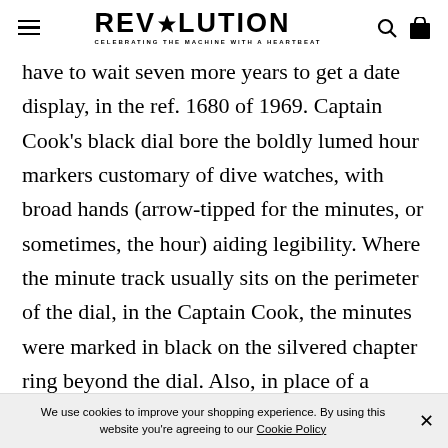REVOLUTION — CELEBRATING THE MACHINE WITH A HEARTBEAT
have to wait seven more years to get a date display, in the ref. 1680 of 1969. Captain Cook's black dial bore the boldly lumed hour markers customary of dive watches, with broad hands (arrow-tipped for the minutes, or sometimes, the hour) aiding legibility. Where the minute track usually sits on the perimeter of the dial, in the Captain Cook, the minutes were marked in black on the silvered chapter ring beyond the dial. Also, in place of a
We use cookies to improve your shopping experience. By using this website you're agreeing to our Cookie Policy